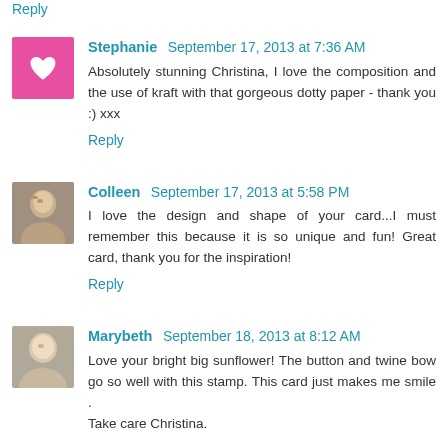Reply
Stephanie  September 17, 2013 at 7:36 AM
Absolutely stunning Christina, I love the composition and the use of kraft with that gorgeous dotty paper - thank you :) xxx
Reply
Colleen  September 17, 2013 at 5:58 PM
I love the design and shape of your card...I must remember this because it is so unique and fun! Great card, thank you for the inspiration!
Reply
Marybeth  September 18, 2013 at 8:12 AM
Love your bright big sunflower! The button and twine bow go so well with this stamp. This card just makes me smile . Take care Christina.